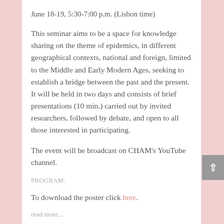June 18-19, 5:30-7:00 p.m. (Lisbon time)
This seminar aims to be a space for knowledge sharing on the theme of epidemics, in different geographical contexts, national and foreign, limited to the Middle and Early Modern Ages, seeking to establish a bridge between the past and the present. It will be held in two days and consists of brief presentations (10 min.) carried out by invited researchers, followed by debate, and open to all those interested in participating.
The event will be broadcast on CHAM's YouTube channel.
PROGRAM.
To download the poster click here.
read more...